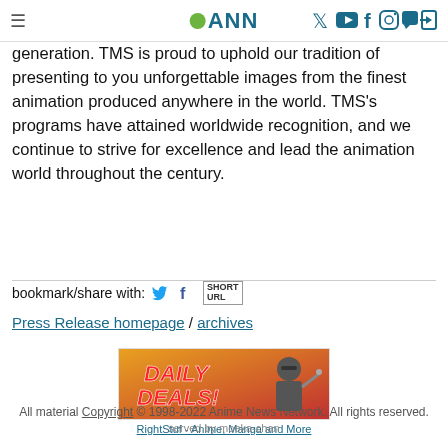ANN - Anime News Network
generation. TMS is proud to uphold our tradition of presenting to you unforgettable images from the finest animation produced anywhere in the world. TMS's programs have attained worldwide recognition, and we continue to strive for excellence and lead the animation world throughout the century.
bookmark/share with:
Press Release homepage / archives
[Figure (illustration): Daily Deals banner ad with ninja character for RightStuf - Anime, Manga and More]
RightStuf - Anime, Manga and More
All material Copyright © 1998-2022 Anime News Network. All rights reserved. served by moeka-chan